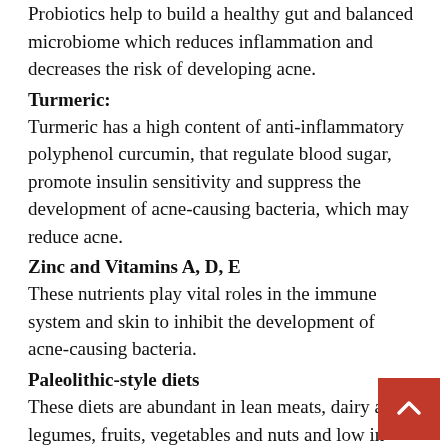Probiotics help to build a healthy gut and balanced microbiome which reduces inflammation and decreases the risk of developing acne.
Turmeric:
Turmeric has a high content of anti-inflammatory polyphenol curcumin, that regulate blood sugar, promote insulin sensitivity and suppress the development of acne-causing bacteria, which may reduce acne.
Zinc and Vitamins A, D, E
These nutrients play vital roles in the immune system and skin to inhibit the development of acne-causing bacteria.
Paleolithic-style diets
These diets are abundant in lean meats, dairy and legumes, fruits, vegetables and nuts and low in grains. They decrease blood sugar levels and insulin